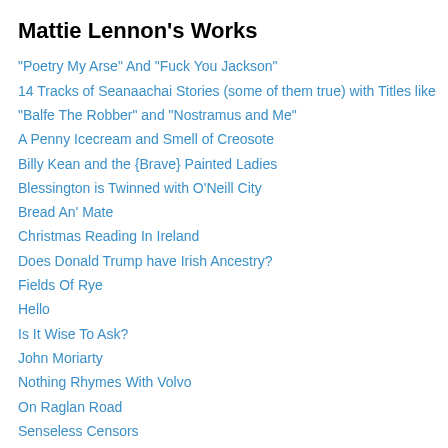Mattie Lennon's Works
"Poetry My Arse" And "Fuck You Jackson"
14 Tracks of Seanaachai Stories (some of them true) with Titles like
"Balfe The Robber" and "Nostramus and Me"
A Penny Icecream and Smell of Creosote
Billy Kean and the {Brave} Painted Ladies
Blessington is Twinned with O'Neill City
Bread An' Mate
Christmas Reading In Ireland
Does Donald Trump have Irish Ancestry?
Fields Of Rye
Hello
Is It Wise To Ask?
John Moriarty
Nothing Rhymes With Volvo
On Raglan Road
Senseless Censors
Sixty Years of Sive
Tones That Are Tender